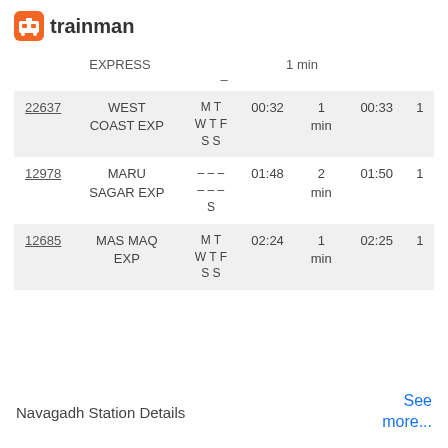trainman
| Train No. | Name | Days | Arrival | Duration | Departure | Platform |
| --- | --- | --- | --- | --- | --- | --- |
| EXPRESS |  | 1 min |  |  |
| - |
| 22637 | WEST COAST EXP | M T W T F S S | 00:32 | 1 min | 00:33 | 1 |
| 12978 | MARU SAGAR EXP | - - - - - - S | 01:48 | 2 min | 01:50 | 1 |
| 12685 | MAS MAQ EXP | M T W T F S S | 02:24 | 1 min | 02:25 | 1 |
Navagadh Station Details
See more...